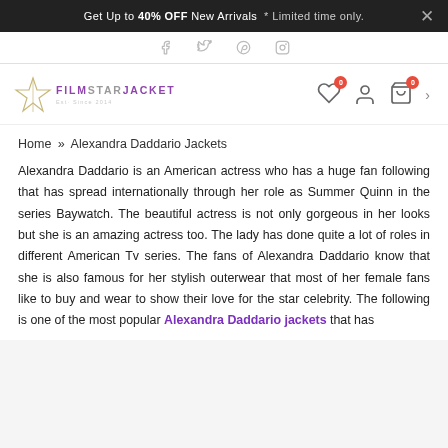Get Up to 40% OFF New Arrivals * Limited time only.
Social icons: facebook, twitter, pinterest, instagram
FilmStarJacket logo with wishlist, account, and cart icons
Home » Alexandra Daddario Jackets
Alexandra Daddario is an American actress who has a huge fan following that has spread internationally through her role as Summer Quinn in the series Baywatch. The beautiful actress is not only gorgeous in her looks but she is an amazing actress too. The lady has done quite a lot of roles in different American Tv series. The fans of Alexandra Daddario know that she is also famous for her stylish outerwear that most of her female fans like to buy and wear to show their love for the star celebrity. The following is one of the most popular Alexandra Daddario jackets that has